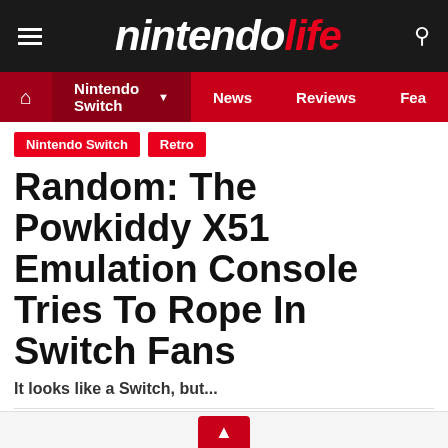nintendo life
Nintendo Switch | News | Reviews | Fea
Nintendo Switch  Retro
Random: The Powkiddy X51 Emulation Console Tries To Rope In Switch Fans
It looks like a Switch, but...
by Ollie Reynolds  Mon 6th Jun 2022
Share: 46